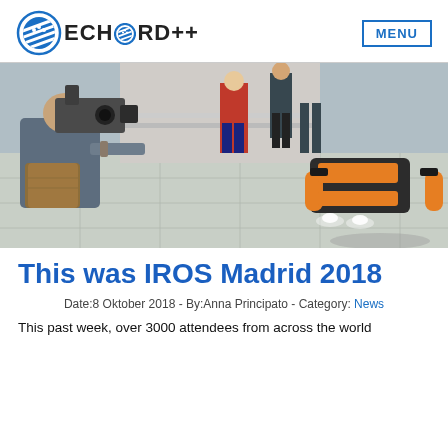ECHORD++ MENU
[Figure (photo): A cameraman filming an orange tracked robot on a tiled floor, with people standing in the background.]
This was IROS Madrid 2018
Date:8 Oktober 2018 - By:Anna Principato - Category: News
This past week, over 3000 attendees from across the world